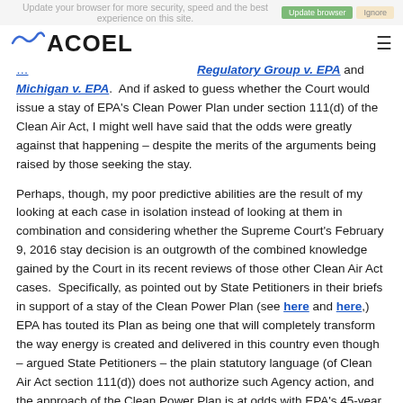ACOEL — Update your browser for more security, speed and the best experience on this site.
Regulatory Group v. EPA and Michigan v. EPA. And if asked to guess whether the Court would issue a stay of EPA's Clean Power Plan under section 111(d) of the Clean Air Act, I might well have said that the odds were greatly against that happening – despite the merits of the arguments being raised by those seeking the stay.
Perhaps, though, my poor predictive abilities are the result of my looking at each case in isolation instead of looking at them in combination and considering whether the Supreme Court's February 9, 2016 stay decision is an outgrowth of the combined knowledge gained by the Court in its recent reviews of those other Clean Air Act cases. Specifically, as pointed out by State Petitioners in their briefs in support of a stay of the Clean Power Plan (see here and here,) EPA has touted its Plan as being one that will completely transform the way energy is created and delivered in this country even though – argued State Petitioners – the plain statutory language (of Clean Air Act section 111(d)) does not authorize such Agency action, and the approach of the Clean Power Plan is at odds with EPA's 45-year history of implementing section 111(d). Maybe such claims struck a chord with the Court, which – in UARG – told EPA that the Agency cannot make "decisions of vast 'economic and political significance'" under a long-extant